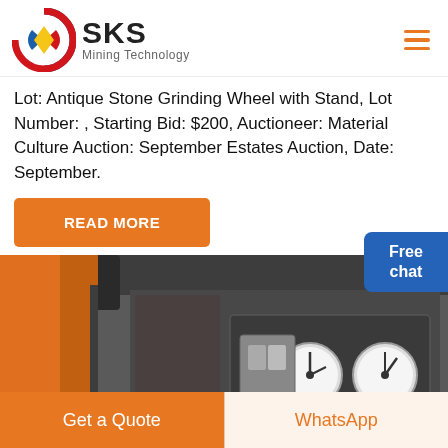[Figure (logo): SKS Mining Technology logo with circular red/blue/white emblem containing a yellow diamond shape, and bold SKS text with Mining Technology subtitle]
Lot: Antique Stone Grinding Wheel with Stand, Lot Number: , Starting Bid: $200, Auctioneer: Material Culture Auction: September Estates Auction, Date: September.
READ MORE
[Figure (photo): Industrial mining equipment showing orange cylindrical component on left, dark grey machine body, and pressure gauge panel with two circular gauges and connected tubing/valves]
Free chat
Get a Quote
WhatsApp